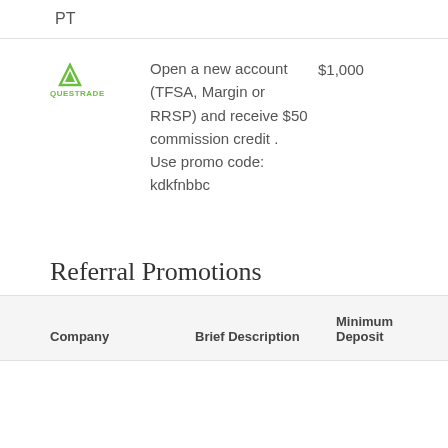PT
Open a new account (TFSA, Margin or RRSP) and receive $50 commission credit . Use promo code: kdkfnbbc
$1,000
Referral Promotions
| Company | Brief Description | Minimum Deposit |
| --- | --- | --- |